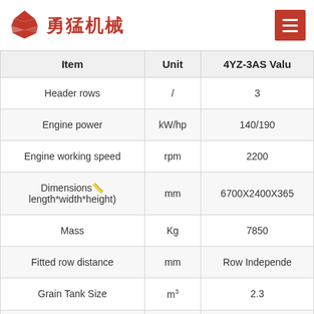勇猛机械
| Item | Unit | 4YZ-3AS Value |
| --- | --- | --- |
| Header rows | / | 3 |
| Engine power | kW/hp | 140/190 |
| Engine working speed | rpm | 2200 |
| Dimensions（length*width*height) | mm | 6700X2400X365 |
| Mass | Kg | 7850 |
| Fitted row distance | mm | Row Independent |
| Grain Tank Size | m³ | 2.3 |
| Minimum distance to ground | mm | 295 |